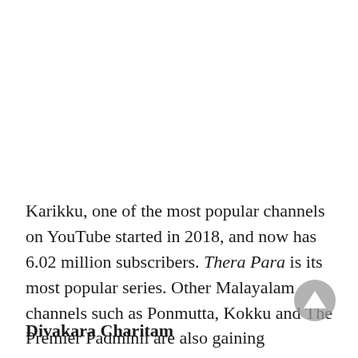Karikku, one of the most popular channels on YouTube started in 2018, and now has 6.02 million subscribers. Thera Para is its most popular series. Other Malayalam channels such as Ponmutta, Kokku and The Premier Padminii are also gaining popularity and audience with their eccentric content.
Divakara Charitam